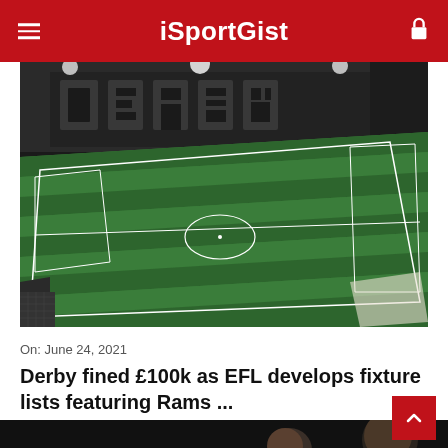iSportGist
[Figure (photo): Aerial view of Derby County's Pride Park stadium at night, showing the green pitch illuminated under floodlights and 'DERBY' lettering on the stands]
On: June 24, 2021
Derby fined £100k as EFL develops fixture lists featuring Rams ...
[Figure (photo): Two football players, partially visible, photographed from below against a dark background]